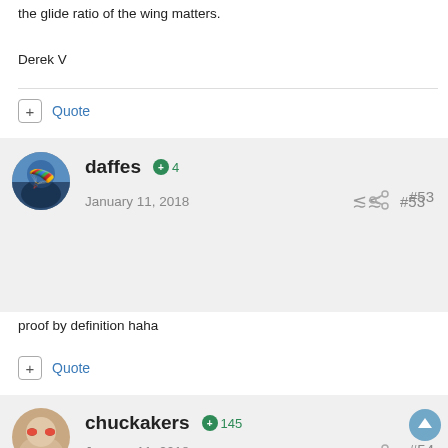the glide ratio of the wing matters.
Derek V
+ Quote
daffes +4  January 11, 2018  #53
proof by definition haha
+ Quote
chuckakers +145  January 11, 2018  #54